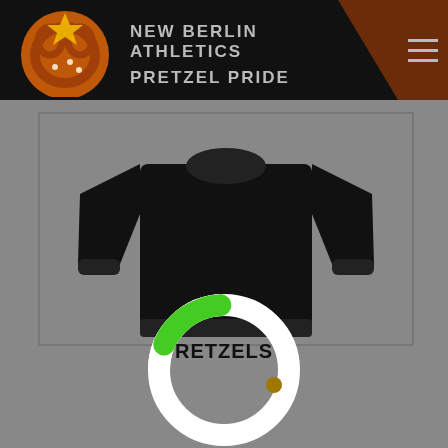NEW BERLIN ATHLETICS PRETZEL PRIDE
[Figure (photo): Black sweatshirt/crewneck displayed on a gray background inside a framed product area, with text RETZELS visible on the chest area]
[Figure (infographic): Circular loading spinner with white ring and green progress arc covering approximately 20% of the bottom, centered over the product image]